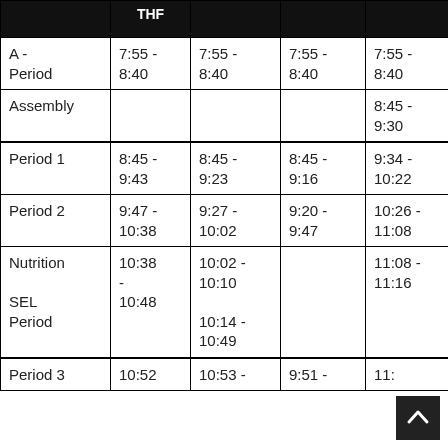|  | THF |  |  |  |
| --- | --- | --- | --- | --- |
| A - Period | 7:55 - 8:40 | 7:55 - 8:40 | 7:55 - 8:40 | 7:55 - 8:40 |
| Assembly |  |  |  | 8:45 - 9:30 |
| Period 1 | 8:45 - 9:43 | 8:45 - 9:23 | 8:45 - 9:16 | 9:34 - 10:22 |
| Period 2 | 9:47 - 10:38 | 9:27 - 10:02 | 9:20 - 9:47 | 10:26 - 11:08 |
| Nutrition SEL Period | 10:38 - 10:48 | 10:02 - 10:10
10:14 - 10:49 |  | 11:08 - 11:16 |
| Period 3 | 10:52 | 10:53 - | 9:51 - | 11: |